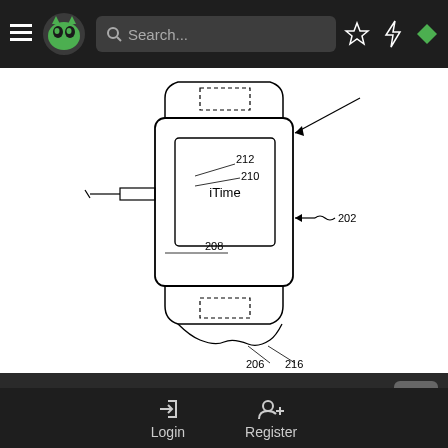Navigation bar with hamburger menu, green monster logo, search bar, star icon, lightning icon, diamond icon
[Figure (engineering-diagram): Apple iTime smartwatch patent diagram showing a wrist device with labeled components: 202 (device body/band), 206, 208, 210, 212 (internal components), 216 (bottom connector area). The device has a rectangular screen labeled 'iTime' and dashed rectangles at top and bottom indicating connectors.]
Do you think you will be buying one of these? Will apple make it to the top?
Source
Login  Register